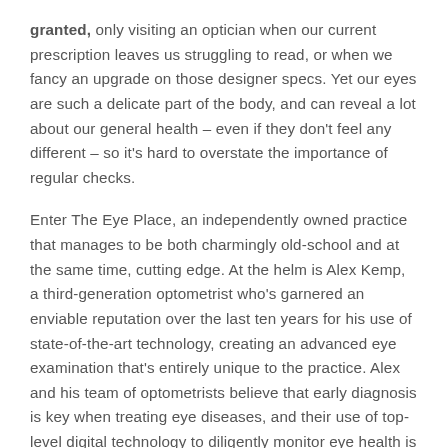granted, only visiting an optician when our current prescription leaves us struggling to read, or when we fancy an upgrade on those designer specs. Yet our eyes are such a delicate part of the body, and can reveal a lot about our general health – even if they don't feel any different – so it's hard to overstate the importance of regular checks.
Enter The Eye Place, an independently owned practice that manages to be both charmingly old-school and at the same time, cutting edge. At the helm is Alex Kemp, a third-generation optometrist who's garnered an enviable reputation over the last ten years for his use of state-of-the-art technology, creating an advanced eye examination that's entirely unique to the practice. Alex and his team of optometrists believe that early diagnosis is key when treating eye diseases, and their use of top-level digital technology to diligently monitor eye health is at the heart of what they do.